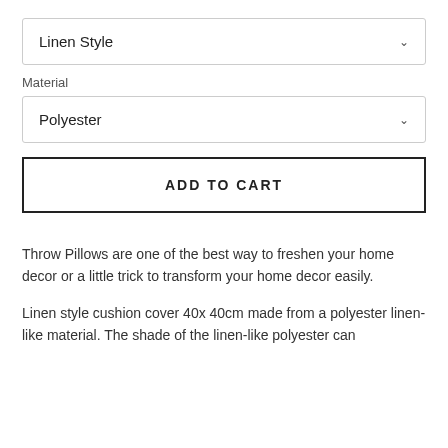[Figure (other): Dropdown selector showing 'Linen Style' with a chevron]
Material
[Figure (other): Dropdown selector showing 'Polyester' with a chevron]
[Figure (other): ADD TO CART button]
Throw Pillows are one of the best way to freshen your home decor or a little trick to transform your home decor easily.
Linen style cushion cover 40x 40cm made from a polyester linen-like material. The shade of the linen-like polyester can